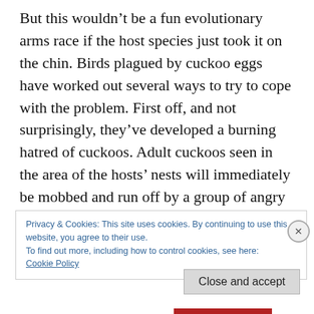But this wouldn't be a fun evolutionary arms race if the host species just took it on the chin. Birds plagued by cuckoo eggs have worked out several ways to try to cope with the problem. First off, and not surprisingly, they've developed a burning hatred of cuckoos. Adult cuckoos seen in the area of the hosts' nests will immediately be mobbed and run off by a group of angry mothers. The cuckoos, however, have learned to use this to their advantage by
Privacy & Cookies: This site uses cookies. By continuing to use this website, you agree to their use.
To find out more, including how to control cookies, see here:
Cookie Policy
Close and accept